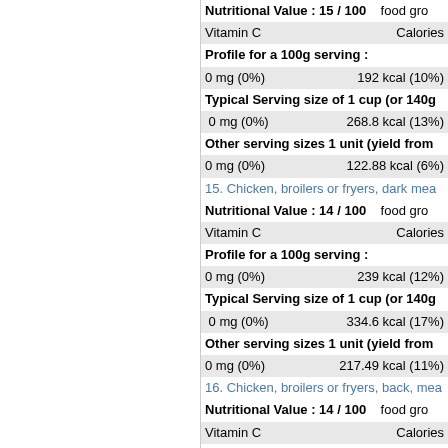Nutritional Value : 15 / 100   food gro
Vitamin C   Calories
Profile for a 100g serving :
0 mg (0%)   192 kcal (10%)
Typical Serving size of 1 cup (or 140g
0 mg (0%)   268.8 kcal (13%)
Other serving sizes 1 unit (yield from
0 mg (0%)   122.88 kcal (6%)
15. Chicken, broilers or fryers, dark mea
Nutritional Value : 14 / 100   food gro
Vitamin C   Calories
Profile for a 100g serving :
0 mg (0%)   239 kcal (12%)
Typical Serving size of 1 cup (or 140g
0 mg (0%)   334.6 kcal (17%)
Other serving sizes 1 unit (yield from
0 mg (0%)   217.49 kcal (11%)
16. Chicken, broilers or fryers, back, mea
Nutritional Value : 14 / 100   food gro
Vitamin C   Calories
Profile for a 100g serving :
0 mg (0%)   331 kcal (17%)
Typical Serving size of 1 unit (yield fr
0 mg (0%)   238.32 kcal (12%)
Other serving sizes 5 lbs and 1